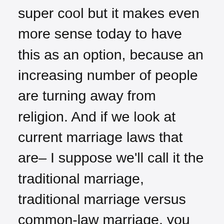super cool but it makes even more sense today to have this as an option, because an increasing number of people are turning away from religion. And if we look at current marriage laws that are– I suppose we'll call it the traditional marriage, traditional marriage versus common-law marriage, you still very much need some type of religious body. It doesn't necessarily need to legally be in a church, but you need a clergy of a religious denomination to officiate the ceremony. Either that, or a current or retired judge. So it's like, pick your poison, religion or government. And that's how you get people like becoming ministers just online for the sake of just